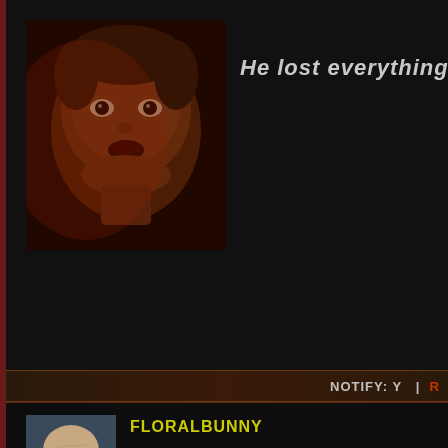[Figure (photo): Dark reddish-toned close-up photo of a young man with a shocked or frightened expression, face lit from below with warm red/amber lighting against a dark background]
He lost everything in tha
NOTIFY: Y  |  R
[Figure (photo): Small avatar photo of an older bald man in light blue clothing, appearing to be a character from a TV show]
FLORALBUNNY
Ahoy, everlite! Magic mousie says you're #25957 to sign onto our shiny crew. We hope you'll feel right welcome among us.

Strawberries are in the box over here, and there's a mug o' Mudder's Milk standing ready. Somewhere around here are a couple of people who deal in free virtual browncoats for all the new members. They'll show up sooner or later.

In the meantime, stash your stuff in one of the